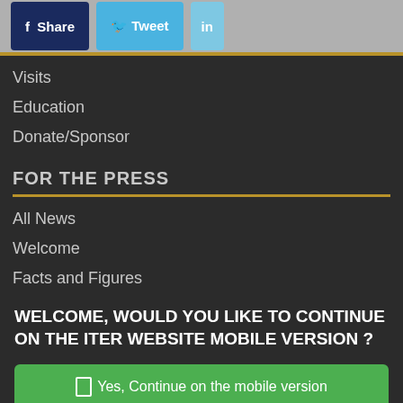[Figure (screenshot): Social share buttons: f Share (dark blue), Tweet (light blue), in (lighter blue)]
Visits
Education
Donate/Sponsor
FOR THE PRESS
All News
Welcome
Facts and Figures
WELCOME, WOULD YOU LIKE TO CONTINUE ON THE ITER WEBSITE MOBILE VERSION ?
Yes, Continue on the mobile version
No, continue on the desktop version